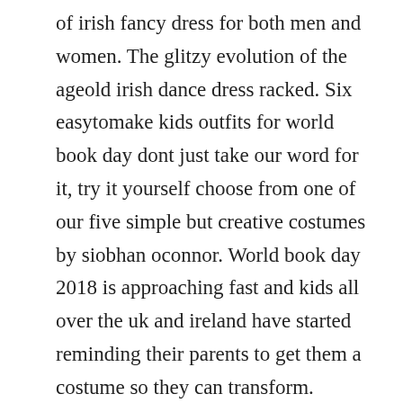of irish fancy dress for both men and women. The glitzy evolution of the ageold irish dance dress racked. Six easytomake kids outfits for world book day dont just take our word for it, try it yourself choose from one of our five simple but creative costumes by siobhan oconnor. World book day 2018 is approaching fast and kids all over the uk and ireland have started reminding their parents to get them a costume so they can transform.
But you dont have to splash any cash on expensive outfits let. Quick and easy world